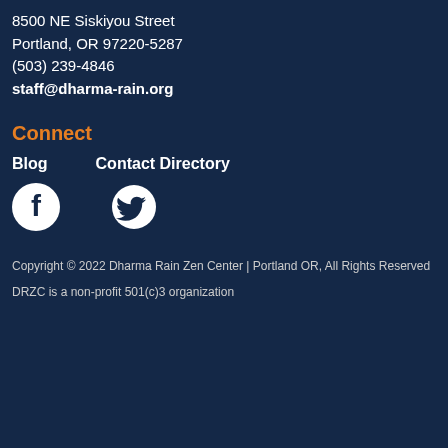8500 NE Siskiyou Street
Portland, OR 97220-5287
(503) 239-4846
staff@dharma-rain.org
Connect
Blog
Contact Directory
[Figure (logo): Facebook icon circle white on dark blue]
[Figure (logo): Twitter bird icon white on dark blue]
Copyright © 2022 Dharma Rain Zen Center | Portland OR, All Rights Reserved
DRZC is a non-profit 501(c)3 organization